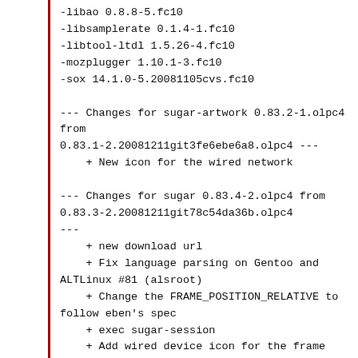-libao 0.8.8-5.fc10
-libsamplerate 0.1.4-1.fc10
-libtool-ltdl 1.5.26-4.fc10
-mozplugger 1.10.1-3.fc10
-sox 14.1.0-5.20081105cvs.fc10

--- Changes for sugar-artwork 0.83.2-1.olpc4 from
0.83.1-2.20081211git3fe6ebe6a8.olpc4 ---
    + New icon for the wired network

--- Changes for sugar 0.83.4-2.olpc4 from
0.83.3-2.20081211git78c54da36b.olpc4
---
    + new download url
    + Fix language parsing on Gentoo and ALTLinux #81 (alsroot)
    + Change the FRAME_POSITION_RELATIVE to follow eben's spec
    + exec sugar-session
    + Add wired device icon for the frame
    + Only show wireless device in the frame when connecting/connected